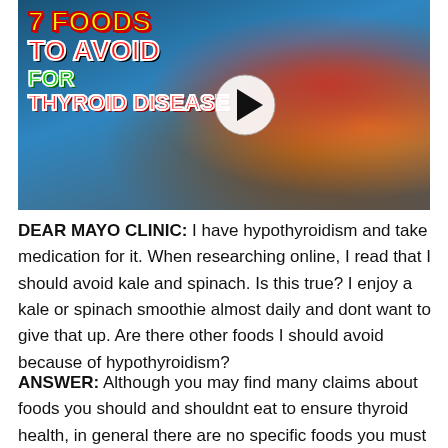[Figure (screenshot): Video thumbnail showing text '7 FOODS TO AVOID FOR THYROID DISEASE' in bold red, green, and yellow lettering with a white circle play button, overlaid on a food background with burgers/grilled meat.]
DEAR MAYO CLINIC: I have hypothyroidism and take medication for it. When researching online, I read that I should avoid kale and spinach. Is this true? I enjoy a kale or spinach smoothie almost daily and dont want to give that up. Are there other foods I should avoid because of hypothyroidism?
ANSWER: Although you may find many claims about foods you should and shouldnt eat to ensure thyroid health, in general there are no specific foods you must avoid if you